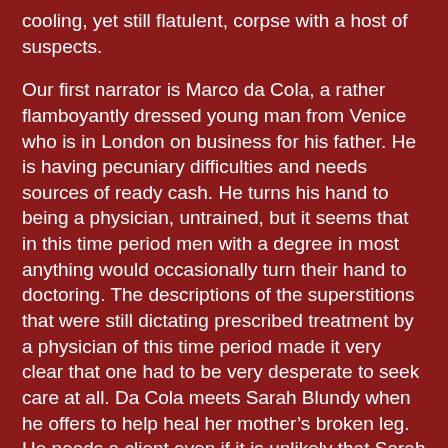cooling, yet still flatulent, corpse with a host of suspects.
Our first narrator is Marco da Cola, a rather flamboyantly dressed young man from Venice who is in London on business for his father. He is having pecuniary difficulties and needs sources of ready cash. He turns his hand to being a physician, untrained, but it seems that in this time period men with a degree in most anything would occasionally turn their hand to doctoring. The descriptions of the superstitions that were still dictating prescribed treatment by a physician of this time period made it very clear that one had to be very desperate to seek care at all. Da Cola meets Sarah Blundy when he offers to help heal her mother's broken leg. He needs a client even if it is unlikely that Sarah can pay his fee with hard coin. There is something, though, not quite right about Marco da Cola.
"He was playing a game with us all, and was confident of his success, and he was now underestimating his audience as I had underestimated him. He did not realize that I saw, that instant, into his soul and perceived the devilish intent that lay hidden there, coiled and waiting to unleashed when all